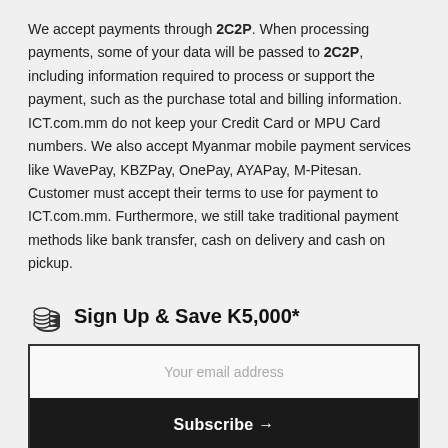We accept payments through 2C2P. When processing payments, some of your data will be passed to 2C2P, including information required to process or support the payment, such as the purchase total and billing information. ICT.com.mm do not keep your Credit Card or MPU Card numbers. We also accept Myanmar mobile payment services like WavePay, KBZPay, OnePay, AYAPay, M-Pitesan. Customer must accept their terms to use for payment to ICT.com.mm. Furthermore, we still take traditional payment methods like bank transfer, cash on delivery and cash on pickup.
Sign Up & Save K5,000*
Your email address
Subscribe →